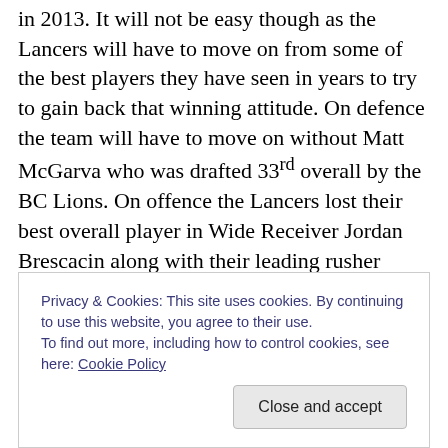in 2013. It will not be easy though as the Lancers will have to move on from some of the best players they have seen in years to try to gain back that winning attitude. On defence the team will have to move on without Matt McGarva who was drafted 33rd overall by the BC Lions. On offence the Lancers lost their best overall player in Wide Receiver Jordan Brescacin along with their leading rusher Jamal Darius. They will still have one of their biggest playmakers in QB Austin Kennedy back to help to lead the offence. The Lancers need to recover from a less than perfect season last year but the loss of some of their
Privacy & Cookies: This site uses cookies. By continuing to use this website, you agree to their use.
To find out more, including how to control cookies, see here: Cookie Policy